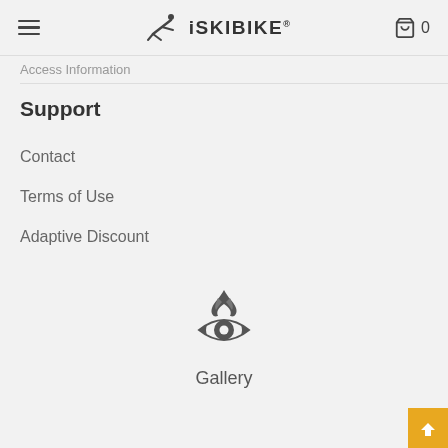iSKIBIKE — navigation header with menu, logo, cart (0)
Access Information
Support
Contact
Terms of Use
Adaptive Discount
[Figure (logo): Stylized fire/eye icon above Gallery label]
Gallery